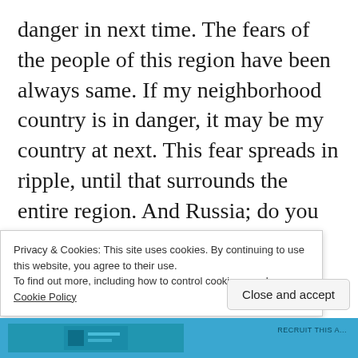danger in next time. The fears of the people of this region have been always same. If my neighborhood country is in danger, it may be my country at next. This fear spreads in ripple, until that surrounds the entire region. And Russia; do you know what will Russia think?: Until today, United States tried to fill all Europe with the ballistic missiles. Of course this fear will be effect to Russia too. And Turks will think: Birth rate? It means that US government enters our bedroom for this counting? We have
Privacy & Cookies: This site uses cookies. By continuing to use this website, you agree to their use.
To find out more, including how to control cookies, see here: Cookie Policy
Close and accept